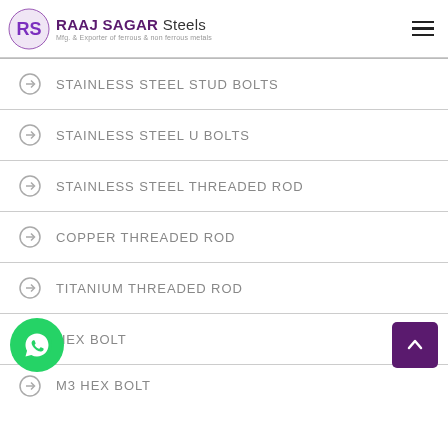RAAJ SAGAR Steels — Mfg. & Exporter of ferrous & non ferrous metals
STAINLESS STEEL STUD BOLTS
STAINLESS STEEL U BOLTS
STAINLESS STEEL THREADED ROD
COPPER THREADED ROD
TITANIUM THREADED ROD
HEX BOLT
M3 HEX BOLT